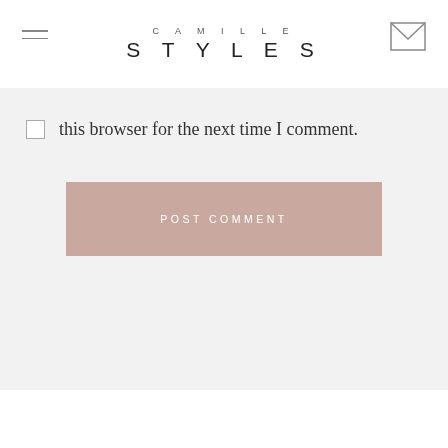CAMILLE STYLES
this browser for the next time I comment.
POST COMMENT
COMMENTS (105)
1
Ashley @ Any Lovely Thing & Yeah. We Bake.
NOVEMBER 9, 2012 AT 12:28 PM
Gorgeous! Such a cute idea.
xo,